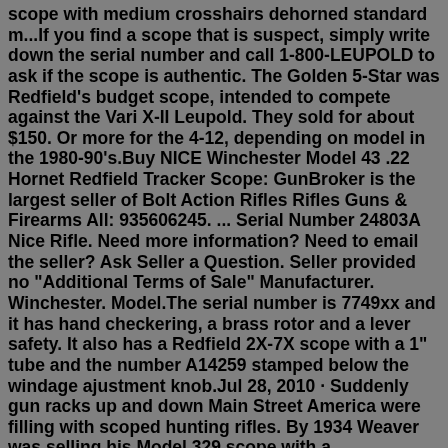scope with medium crosshairs dehorned standard m...If you find a scope that is suspect, simply write down the serial number and call 1-800-LEUPOLD to ask if the scope is authentic. The Golden 5-Star was Redfield's budget scope, intended to compete against the Vari X-II Leupold. They sold for about $150. Or more for the 4-12, depending on model in the 1980-90's.Buy NICE Winchester Model 43 .22 Hornet Redfield Tracker Scope: GunBroker is the largest seller of Bolt Action Rifles Rifles Guns & Firearms All: 935606245. ... Serial Number 24803A Nice Rifle. Need more information? Need to email the seller? Ask Seller a Question. Seller provided no "Additional Terms of Sale" Manufacturer. Winchester. Model.The serial number is 7749xx and it has hand checkering, a brass rotor and a lever safety. It also has a Redfield 2X-7X scope with a 1" tube and the number A14259 stamped below the windage ajustment knob.Jul 28, 2010 · Suddenly gun racks up and down Main Street America were filling with scoped hunting rifles. By 1934 Weaver was selling his Model 329 scope with a